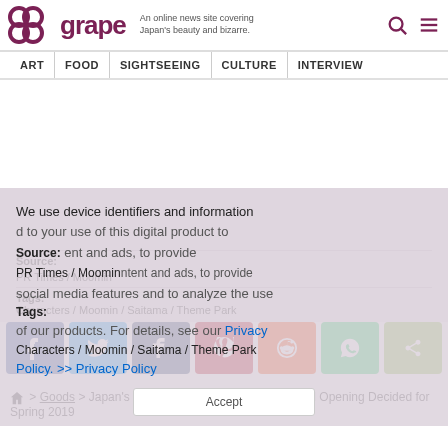grape — An online news site covering Japan's beauty and bizarre.
ART | FOOD | SIGHTSEEING | CULTURE | INTERVIEW
Source: PR Times / Moomin
Tags: Characters / Moomin / Saitama / Theme Park
> Goods > Japan's Moomin Valley Theme Park Grand Opening Decided for Spring 2019